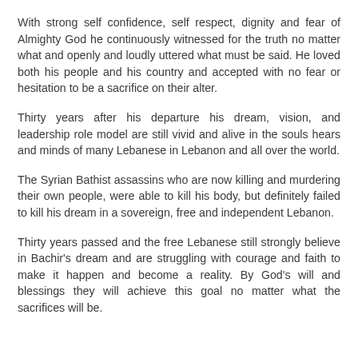With strong self confidence, self respect, dignity and fear of Almighty God he continuously witnessed for the truth no matter what and openly and loudly uttered what must be said. He loved both his people and his country and accepted with no fear or hesitation to be a sacrifice on their alter.
Thirty years after his departure his dream, vision, and leadership role model are still vivid and alive in the souls hears and minds of many Lebanese in Lebanon and all over the world.
The Syrian Bathist assassins who are now killing and murdering their own people, were able to kill his body, but definitely failed to kill his dream in a sovereign, free and independent Lebanon.
Thirty years passed and the free Lebanese still strongly believe in Bachir's dream and are struggling with courage and faith to make it happen and become a reality. By God's will and blessings they will achieve this goal no matter what the sacrifices will be.